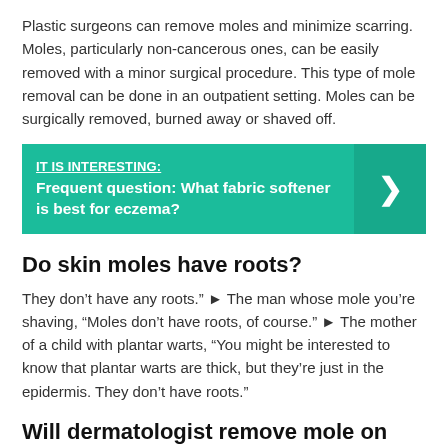Plastic surgeons can remove moles and minimize scarring. Moles, particularly non-cancerous ones, can be easily removed with a minor surgical procedure. This type of mole removal can be done in an outpatient setting. Moles can be surgically removed, burned away or shaved off.
[Figure (infographic): Teal/green banner with 'IT IS INTERESTING:' label and text 'Frequent question: What fabric softener is best for eczema?' with a right-pointing chevron arrow on the darker right side.]
Do skin moles have roots?
They don’t have any roots.” ► The man whose mole you’re shaving, “Moles don’t have roots, of course.” ► The mother of a child with plantar warts, “You might be interested to know that plantar warts are thick, but they’re just in the epidermis. They don’t have roots.”
Will dermatologist remove mole on first visit?